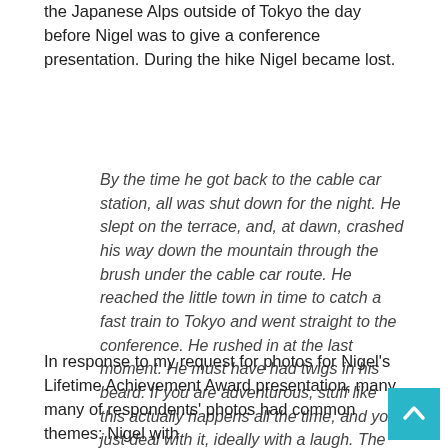the Japanese Alps outside of Tokyo the day before Nigel was to give a conference presentation. During the hike Nigel became lost.
By the time he got back to the cable car station, all was shut down for the night. He slept on the terrace, and, at dawn, crashed his way down the mountain through the brush under the cable car route. He reached the little town in time to catch a fast train to Tokyo and went straight to the conference. He rushed in at the last moment. He must have had twigs in his beard. If you are adventurous, stuff like this actually happens all the time, and you just deal with it, ideally with a laugh. The reason he had so many funny stories was not because he was ill fated, but because he was so adventurous.
In response to my request for photos for Nigel's Lifetime Achievement Award presentation, many, many of respondents' photos had common themes: Nigel with